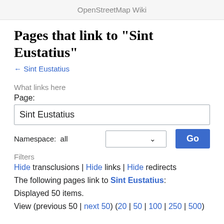OpenStreetMap Wiki
Pages that link to "Sint Eustatius"
← Sint Eustatius
What links here
Page:
Sint Eustatius
Namespace:  all
Filters
Hide transclusions | Hide links | Hide redirects
The following pages link to Sint Eustatius:
Displayed 50 items.
View (previous 50 | next 50) (20 | 50 | 100 | 250 | 500)